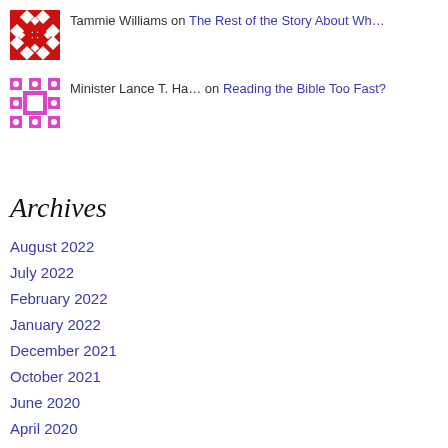Tammie Williams on The Rest of the Story About Wh…
Minister Lance T. Ha… on Reading the Bible Too Fast?
Archives
August 2022
July 2022
February 2022
January 2022
December 2021
October 2021
June 2020
April 2020
March 2020